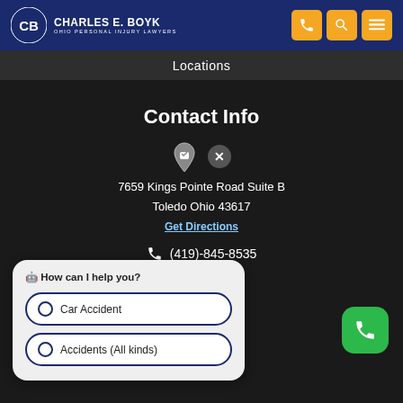[Figure (logo): Charles E. Boyk Ohio Personal Injury Lawyers logo with orange/white icon and header navigation buttons]
Locations
Contact Info
7659 Kings Pointe Road Suite B
Toledo Ohio 43617
Get Directions
(419)-845-8535
🤖 How can I help you?
Car Accident
Accidents (All kinds)
Copyright © 2022 Charles E. Boyk Law Offices, LLC. All rights reserved.